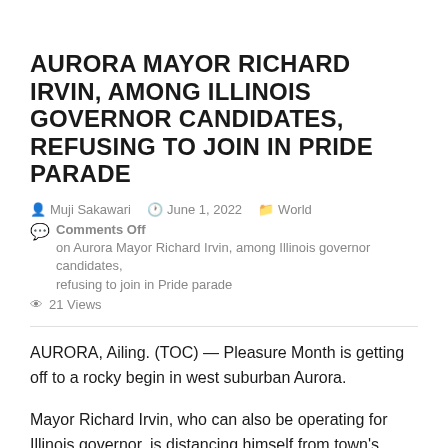AURORA MAYOR RICHARD IRVIN, AMONG ILLINOIS GOVERNOR CANDIDATES, REFUSING TO JOIN IN PRIDE PARADE
Muji Sakawari   June 1, 2022   World   Comments Off on Aurora Mayor Richard Irvin, among Illinois governor candidates, refusing to join in Pride parade   21 Views
AURORA, Ailing. (TOC) — Pleasure Month is getting off to a rocky begin in west suburban Aurora.
Mayor Richard Irvin, who can also be operating for Illinois governor, is distancing himself from town's Pleasure parade over a police uniform dispute.